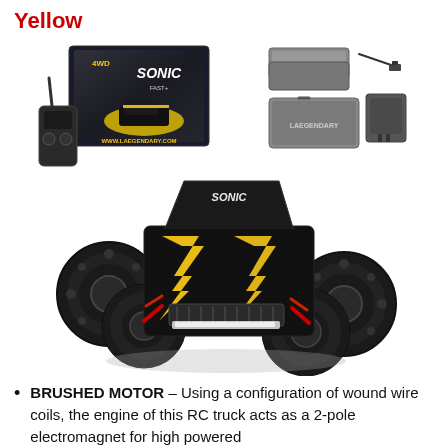Yellow
[Figure (photo): Product photo of a yellow and black RC monster truck (Sonic branded) with a product box, remote controller, batteries, charger and accessories visible in the background.]
BRUSHED MOTOR – Using a configuration of wound wire coils, the engine of this RC truck acts as a 2-pole electromagnet for high powered